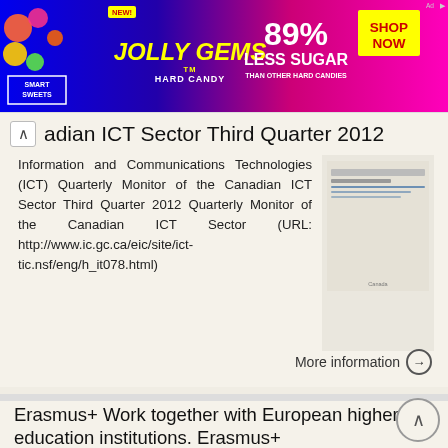[Figure (screenshot): Smart Sweets Jolly Gems Hard Candy advertisement banner with pink/purple gradient background, 89% Less Sugar than other hard candies, SHOP NOW button]
adian ICT Sector Third Quarter 2012
Information and Communications Technologies (ICT) Quarterly Monitor of the Canadian ICT Sector Third Quarter 2012 Quarterly Monitor of the Canadian ICT Sector (URL: http://www.ic.gc.ca/eic/site/ict-tic.nsf/eng/h_it078.html)
More information →
Erasmus+ Work together with European higher education institutions. Erasmus+
Work together with European higher education institutions ? The EU's programme to support education, training youth & sport Funding for programmes, projects & scholarships Fosters EU-EU & EU-